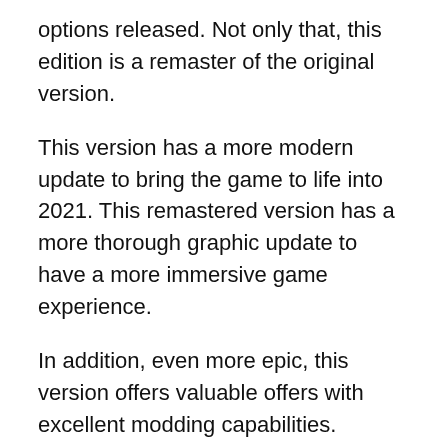options released. Not only that, this edition is a remaster of the original version.
This version has a more modern update to bring the game to life into 2021. This remastered version has a more thorough graphic update to have a more immersive game experience.
In addition, even more epic, this version offers valuable offers with excellent modding capabilities.
Modding can now be played by console players and you can create your mods. Of the three DLC options and improved graphics, this edition